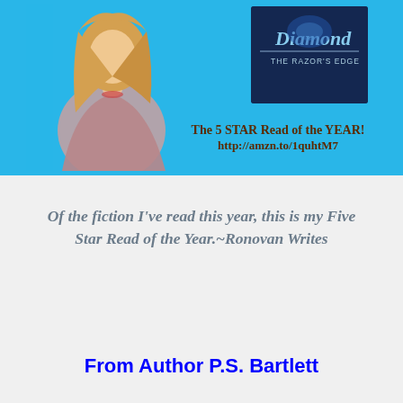[Figure (illustration): Book advertisement banner with cyan/light blue background showing a blonde woman and a book cover for 'Diamond: The Razor's Edge'. Text overlay reads 'The 5 STAR Read of the YEAR!' and 'http://amzn.to/1quhtM7']
Of the fiction I've read this year, this is my Five Star Read of the Year.~Ronovan Writes
From Author P.S. Bartlett